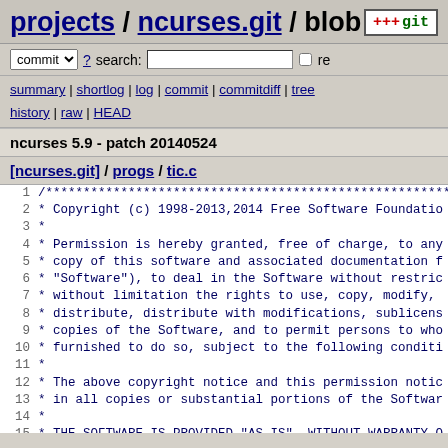projects / ncurses.git / blob
commit ▼ ? search: [ ] re
summary | shortlog | log | commit | commitdiff | tree history | raw | HEAD
ncurses 5.9 - patch 20140524
[ncurses.git] / progs / tic.c
Code listing lines 1-19 of tic.c